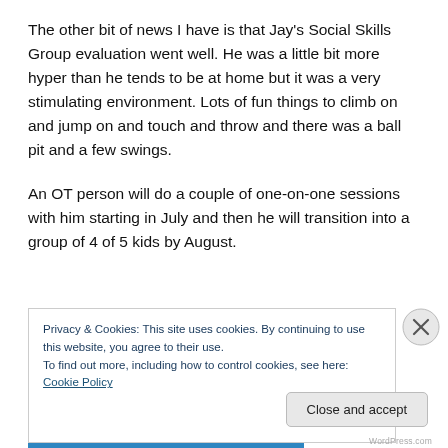The other bit of news I have is that Jay's Social Skills Group evaluation went well.  He was a little bit more hyper than he tends to be at home but it was a very stimulating environment.  Lots of fun things to climb on and jump on and touch and throw and there was a ball pit and a few swings.
An OT person will do a couple of one-on-one sessions with him starting in July and then he will transition into a group of 4 of 5 kids by August.
Privacy & Cookies: This site uses cookies. By continuing to use this website, you agree to their use.
To find out more, including how to control cookies, see here: Cookie Policy